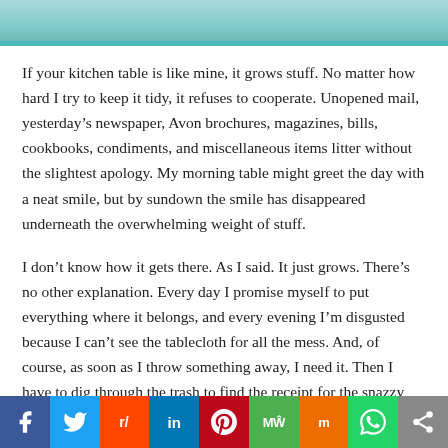[Figure (photo): Partial photo strip at the top of the page, showing a cropped image with teal/cyan background tones]
If your kitchen table is like mine, it grows stuff. No matter how hard I try to keep it tidy, it refuses to cooperate. Unopened mail, yesterday's newspaper, Avon brochures, magazines, bills, cookbooks, condiments, and miscellaneous items litter without the slightest apology. My morning table might greet the day with a neat smile, but by sundown the smile has disappeared underneath the overwhelming weight of stuff.
I don't know how it gets there. As I said. It just grows. There's no other explanation. Every day I promise myself to put everything where it belongs, and every evening I'm disgusted because I can't see the tablecloth for all the mess. And, of course, as soon as I throw something away, I need it. Then I have to dig through the trash to find the receipt for the snazzy slacks I bought. You know how that goes. Every now and then you step out of your comfort zone and try
[Figure (infographic): Social media sharing bar at the bottom with icons for Facebook, Twitter, Reddit, LinkedIn, Pinterest, MeWe, Mix, WhatsApp, and a share button]